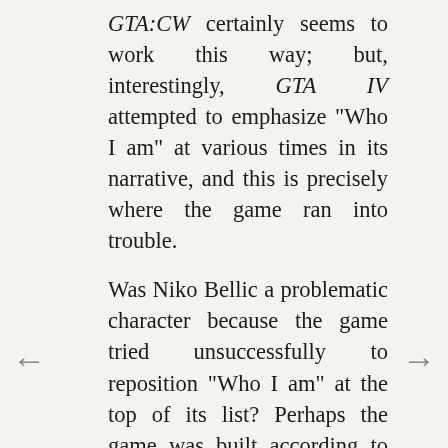GTA:CW certainly seems to work this way; but, interestingly, GTA IV attempted to emphasize "Who I am" at various times in its narrative, and this is precisely where the game ran into trouble.
Was Niko Bellic a problematic character because the game tried unsuccessfully to reposition "Who I am" at the top of its list? Perhaps the game was built according to Robertson's list of player priorities - just as Rockstar has designed every game in the GTA series - and no amount of contemplating Niko's nature or backstory could overcome this overarching structure.
I don't know. But one thing seems clear to me. GTA: Chinatown Wars succeeds on its diminutive hardware more completely than its older next-gen brother, and that's an accomplishment